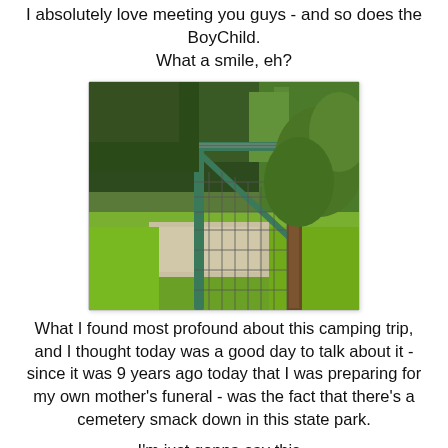I absolutely love meeting you guys - and so does the BoyChild.
What a smile, eh?
[Figure (photo): A metal farm gate with wire fencing and barbed wire at top, surrounded by green grass, trees and lush foliage in the background.]
What I found most profound about this camping trip, and I thought today was a good day to talk about it - since it was 9 years ago today that I was preparing for my own mother's funeral - was the fact that there's a cemetery smack down in this state park.
I'm just gonna say this -